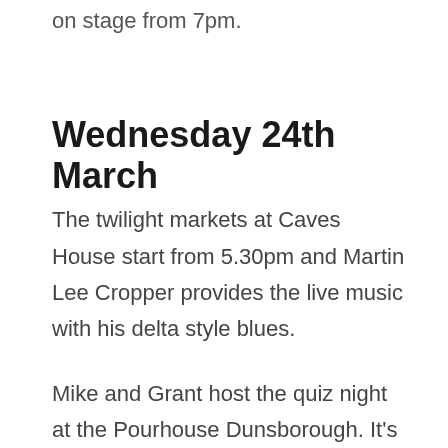on stage from 7pm.
Wednesday 24th March
The twilight markets at Caves House start from 5.30pm and Martin Lee Cropper provides the live music with his delta style blues.
Mike and Grant host the quiz night at the Pourhouse Dunsborough. It's free to play with great prizes. Book